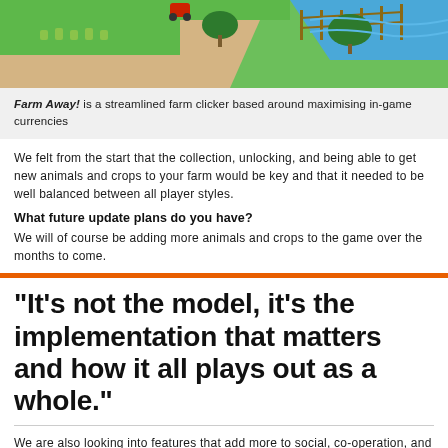[Figure (illustration): Screenshot of Farm Away! game showing isometric farm view with crops, animals, a path, trees, and a water body in the background.]
Farm Away! is a streamlined farm clicker based around maximising in-game currencies
We felt from the start that the collection, unlocking, and being able to get new animals and crops to your farm would be key and that it needed to be well balanced between all player styles.
What future update plans do you have?
We will of course be adding more animals and crops to the game over the months to come.
"It's not the model, it's the implementation that matters and how it all plays out as a whole."
We are also looking into features that add more to social, co-operation, and competition in a new and innovative way.
The View-to-Play model seems like a perfect fit for idle games